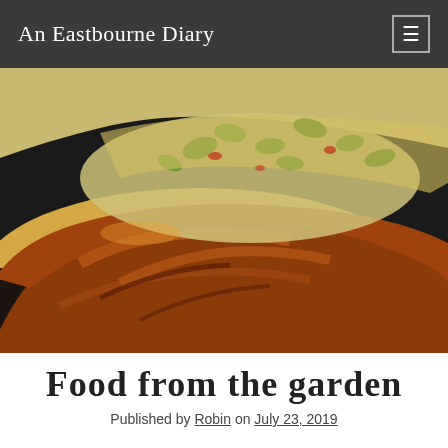An Eastbourne Diary
[Figure (photo): Close-up photo of a folded omelette cooking in a pan, with visible courgette/zucchini pieces and filling, golden-brown and crispy on top.]
Food from the garden
Published by Robin on July 23, 2019
The garden is producing some fantastic fruit and veg